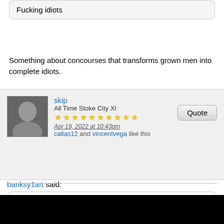Fucking idiots
Something about concourses that transforms grown men into complete idiots.
skip
All Time Stoke City XI
★★★★★★★★★★
Apr 19, 2022 at 10:43pm
callas12 and vincentvega like this
banksy1art said:
Jesus Christ didn't know we had this many fannies, it's a bit of fun and creates an atmosphere.. bet you love to sit down in silence. you should try European games you'd hate it!
If a smoke bomb hit either of my kids in an enclosed away end, to say I might be tempted to get a little primitive is an understatement.